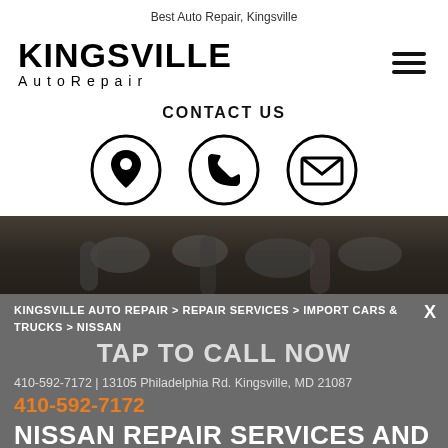Best Auto Repair, Kingsville
[Figure (logo): Kingsville Auto Repair logo with bold KINGSVILLE text and AutoRepair in spaced letters below]
[Figure (infographic): Contact Us section with location pin, phone, and email icons in circles]
[Figure (photo): Dark banner photo of car engine parts]
KINGSVILLE AUTO REPAIR > REPAIR SERVICES > IMPORT CARS & TRUCKS > NISSAN
TAP TO CALL NOW
410-592-7172 | 13105 Philadelphia Rd. Kingsville, MD 21087
410-592-7172
NISSAN REPAIR SERVICES AND
MAINTENANCE IN KINGSVILLE